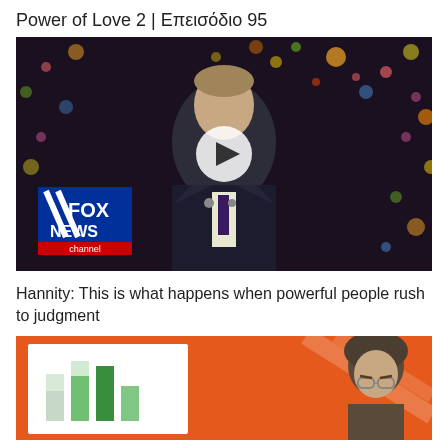Power of Love 2 | Επεισόδιο 95
[Figure (screenshot): Fox News channel video thumbnail showing a man in a suit with a play button overlay and Fox News channel logo in the bottom left. Dark bokeh background with colorful lights.]
Hannity: This is what happens when powerful people rush to judgment
[Figure (screenshot): Second video thumbnail with orange background showing partial view of a person wearing a hoodie and glasses on the right, and a bar chart graphic on the left.]